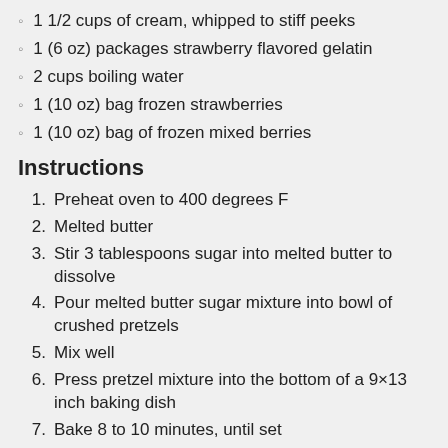1 1/2 cups of cream, whipped to stiff peeks
1 (6 oz) packages strawberry flavored gelatin
2 cups boiling water
1 (10 oz) bag frozen strawberries
1 (10 oz) bag of frozen mixed berries
Instructions
1. Preheat oven to 400 degrees F
2. Melted butter
3. Stir 3 tablespoons sugar into melted butter to dissolve
4. Pour melted butter sugar mixture into bowl of crushed pretzels
5. Mix well
6. Press pretzel mixture into the bottom of a 9×13 inch baking dish
7. Bake 8 to 10 minutes, until set
8. Set dish aside to cool
9. In a large mixing bowl cream together cream cheese and 1 cup sugar
10. Fold in whipped cream